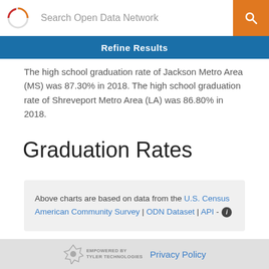Search Open Data Network
Refine Results
The high school graduation rate of Jackson Metro Area (MS) was 87.30% in 2018. The high school graduation rate of Shreveport Metro Area (LA) was 86.80% in 2018.
Graduation Rates
Above charts are based on data from the U.S. Census American Community Survey | ODN Dataset | API -
EMPOWERED BY TYLER TECHNOLOGIES   Privacy Policy